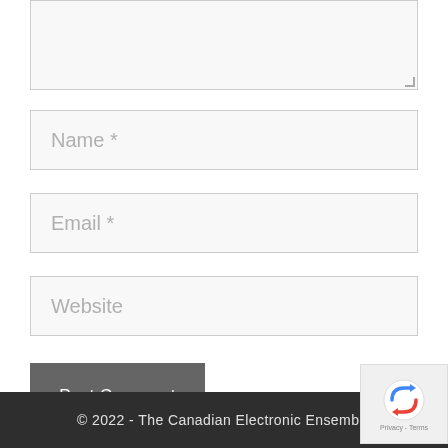[Figure (screenshot): A text area input box, partially visible at top, with a resize handle at the bottom-right corner. Background is light gray with a border.]
[Figure (screenshot): A form input field with placeholder text 'Name *' in light gray.]
[Figure (screenshot): A form input field with placeholder text 'Email *' in light gray.]
[Figure (screenshot): A form input field with placeholder text 'Website' in light gray.]
[Figure (screenshot): A dark gray button labeled 'Post Comment' in white text.]
© 2022 - The Canadian Electronic Ensemble
[Figure (screenshot): reCAPTCHA widget showing the reCAPTCHA logo and 'Privacy - Terms' text.]